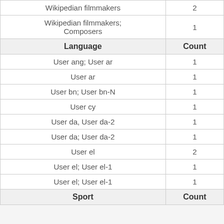| Language / Category | Count |
| --- | --- |
| Wikipedian filmmakers | 2 |
| Wikipedian filmmakers; Composers | 1 |
| Language | Count |
| User ang; User ar | 1 |
| User ar | 1 |
| User bn; User bn-N | 1 |
| User cy | 1 |
| User da, User da-2 | 1 |
| User da; User da-2 | 1 |
| User el | 2 |
| User el; User el-1 | 1 |
| User el; User el-1 | 1 |
| Sport | Count |